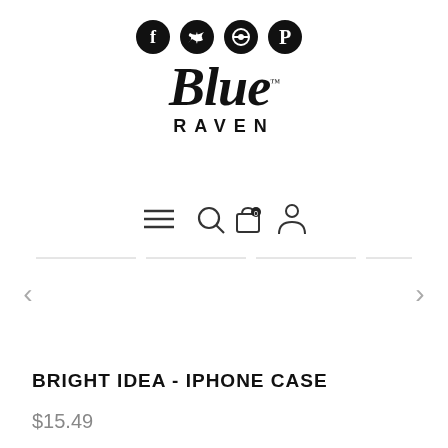[Figure (logo): Social media icons row: Facebook, Twitter, Pokeball/Target, Pinterest — black circles with white icons]
[Figure (logo): Blue Raven brand logo — 'Blue' in bold italic serif with TM mark, 'RAVEN' in spaced uppercase sans-serif below]
[Figure (infographic): Website navigation icons: hamburger menu, search magnifier, shopping bag with badge showing 0, user/profile icon]
[Figure (infographic): Image carousel slider area with 4 segment indicator lines and left/right navigation arrows]
BRIGHT IDEA - IPHONE CASE
$15.49